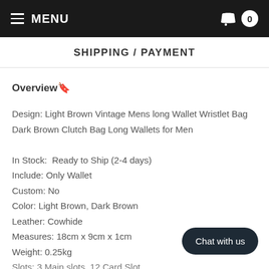≡ MENU  🛒 0
SHIPPING / PAYMENT
Overview🔖
Design: Light Brown Vintage Mens long Wallet Wristlet Bag Dark Brown Clutch Bag Long Wallets for Men
In Stock:  Ready to Ship (2-4 days)
Include: Only Wallet
Custom: No
Color: Light Brown, Dark Brown
Leather: Cowhide
Measures: 18cm x 9cm x 1cm
Weight: 0.25kg
Slots: 3 Main slots, 12 Card Slots